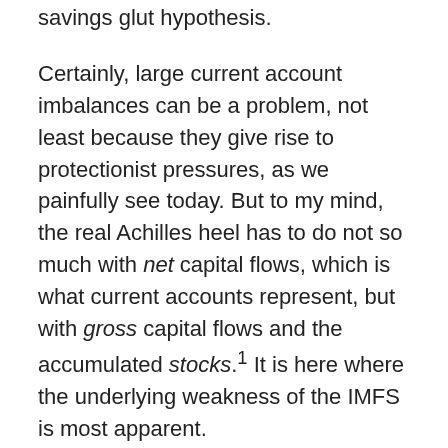savings glut hypothesis.
Certainly, large current account imbalances can be a problem, not least because they give rise to protectionist pressures, as we painfully see today. But to my mind, the real Achilles heel has to do not so much with net capital flows, which is what current accounts represent, but with gross capital flows and the accumulated stocks.1 It is here where the underlying weakness of the IMFS is most apparent.
That weakness is the failure to anchor effectively financial expansions and contractions, not just across borders but also within countries - cycles that can cause major macroeconomic dislocations and financial crises.
Such financial booms and...